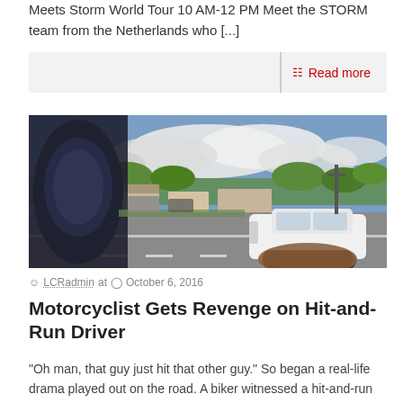Meets Storm World Tour 10 AM-12 PM Meet the STORM team from the Netherlands who [...]
Read more
[Figure (photo): A motorcyclist's point-of-view shot showing a white car on a suburban road, with trees, buildings, a utility pole, and clouds in the background. The rider's gloved hand is visible in the foreground.]
LCRadmin at  October 6, 2016
Motorcyclist Gets Revenge on Hit-and-Run Driver
"Oh man, that guy just hit that other guy." So began a real-life drama played out on the road. A biker witnessed a hit-and-run